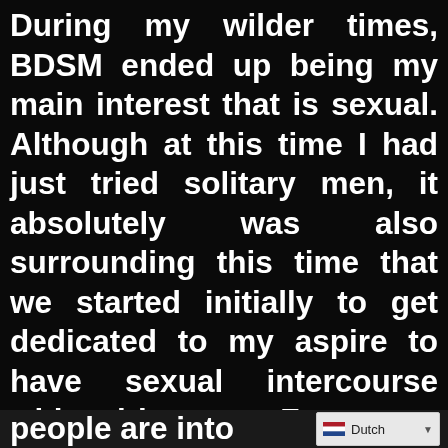During my wilder times, BDSM ended up being my main interest that is sexual. Although at this time I had just tried solitary men, it absolutely was also surrounding this time that we started initially to get dedicated to my aspire to have sexual intercourse with girls, too. For many explanation, BDSM and moving never frequently appear to overlap – many people are into
[Figure (screenshot): Language selector dropdown showing Dutch flag (red, white, blue horizontal stripes) and the text 'Dutch' with a dropdown arrow]